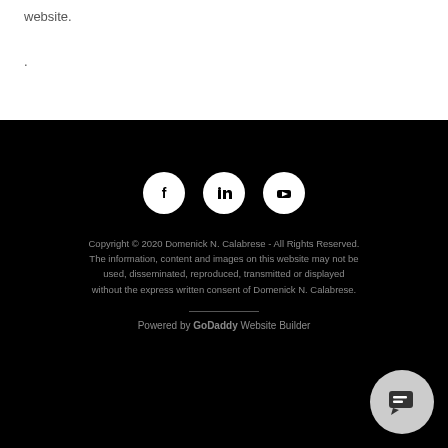website.
.
[Figure (infographic): Three social media icons (Facebook, LinkedIn, YouTube) displayed as white circles on black background, followed by copyright text and powered by GoDaddy footer]
Copyright © 2020 Domenick N. Calabrese - All Rights Reserved. The information, content and images on this website may not be used, disseminated, reproduced, transmitted or displayed without the express written consent of Domenick N. Calabrese.
Powered by GoDaddy Website Builder